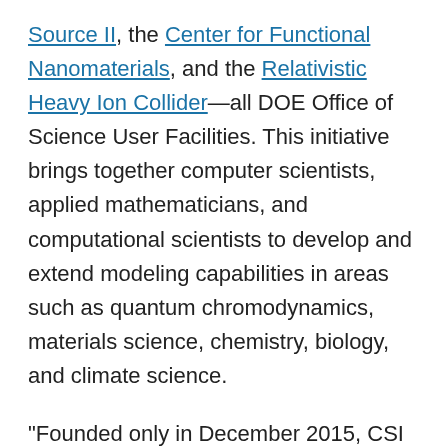Source II, the Center for Functional Nanomaterials, and the Relativistic Heavy Ion Collider—all DOE Office of Science User Facilities. This initiative brings together computer scientists, applied mathematicians, and computational scientists to develop and extend modeling capabilities in areas such as quantum chromodynamics, materials science, chemistry, biology, and climate science.
"Founded only in December 2015, CSI has for the first time brought together leading experts across the lab to address the challenges of exascale computing. The two successful DOE Exascale Computing Project proposals demonstrate the